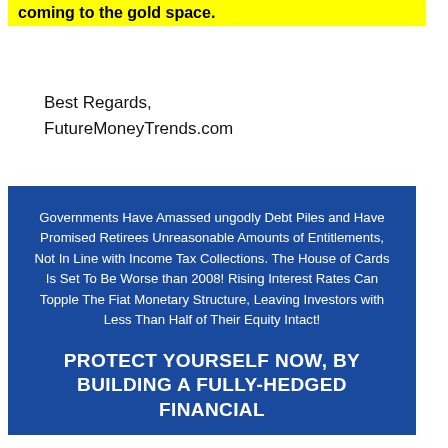coming to the gold space.
Best Regards,
FutureMoneyTrends.com
Governments Have Amassed ungodly Debt Piles and Have Promised Retirees Unreasonable Amounts of Entitlements, Not In Line with Income Tax Collections. The House of Cards Is Set To Be Worse than 2008! Rising Interest Rates Can Topple The Fiat Monetary Structure, Leaving Investors with Less Than Half of Their Equity Intact!
PROTECT YOURSELF NOW, BY BUILDING A FULLY-HEDGED FINANCIAL